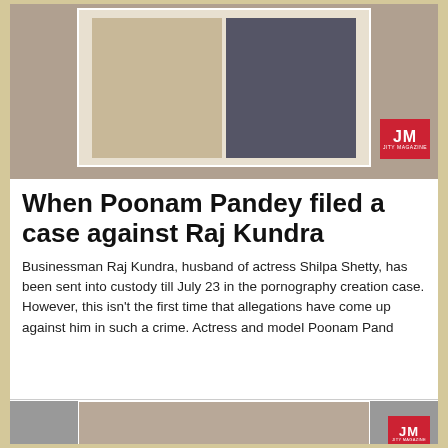[Figure (photo): Top banner image showing two people (a woman in gold dress and a man in suit) against a blurred background, with JM logo in bottom-right corner]
When Poonam Pandey filed a case against Raj Kundra
Businessman Raj Kundra, husband of actress Shilpa Shetty, has been sent into custody till July 23 in the pornography creation case. However, this isn't the first time that allegations have come up against him in such a crime. Actress and model Poonam Pand
[Figure (photo): Bottom image showing a man without shirt, with JM logo in bottom-right corner]